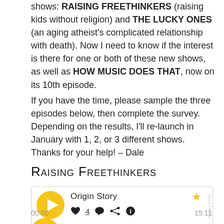shows: RAISING FREETHINKERS (raising kids without religion) and THE LUCKY ONES (an aging atheist's complicated relationship with death). Now I need to know if the interest is there for one or both of these new shows, as well as HOW MUSIC DOES THAT, now on its 10th episode.
If you have the time, please sample the three episodes below, then complete the survey. Depending on the results, I'll re-launch in January with 1, 2, or 3 different shows. Thanks for your help! – Dale
Raising Freethinkers
[Figure (screenshot): Podcast player widget showing episode 'Origin Story' with play button, like (4), comment, share, and info icons, a star rating icon, and time display 00:00 / 15:11]
00:00	15:11